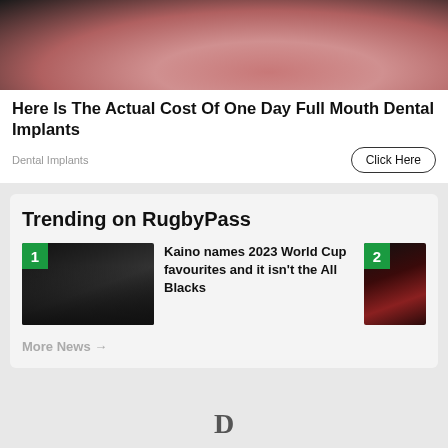[Figure (photo): Close-up photo of skin/face with dark background on left and pinkish-red skin texture on right]
Here Is The Actual Cost Of One Day Full Mouth Dental Implants
Dental Implants
Click Here
Trending on RugbyPass
[Figure (photo): Rugby players in black uniforms, group photo, number 1 badge on top left corner]
Kaino names 2023 World Cup favourites and it isn't the All Blacks
[Figure (photo): Rugby action photo with number 2 badge on top left corner]
More News →
D